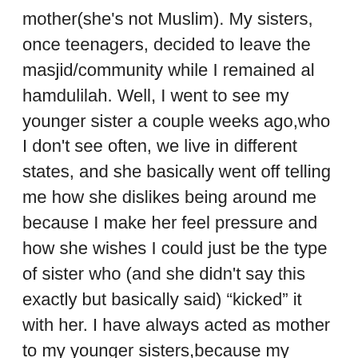mother(she's not Muslim). My sisters, once teenagers, decided to leave the masjid/community while I remained al hamdulilah. Well, I went to see my younger sister a couple weeks ago,who I don't see often, we live in different states, and she basically went off telling me how she dislikes being around me because I make her feel pressure and how she wishes I could just be the type of sister who (and she didn't say this exactly but basically said) “kicked” it with her. I have always acted as mother to my younger sisters,because my mother couldn’t always do it, (for various reasons). She said there is always this line that we don’t cross. She said she felt tired of trying to be something she wasen’t around me and